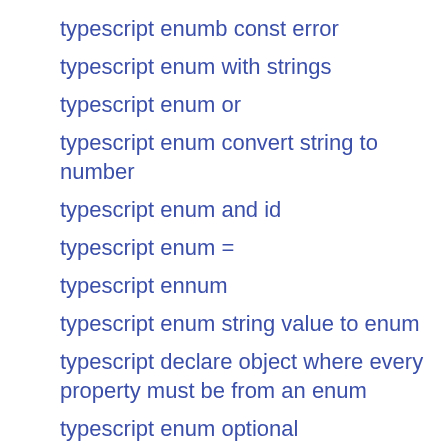typescript enumb const error
typescript enum with strings
typescript enum or
typescript enum convert string to number
typescript enum and id
typescript enum =
typescript ennum
typescript enum string value to enum
typescript declare object where every property must be from an enum
typescript enum optional
typescript interface enum type
typescript cast enum to enum
typescript conver string to enum